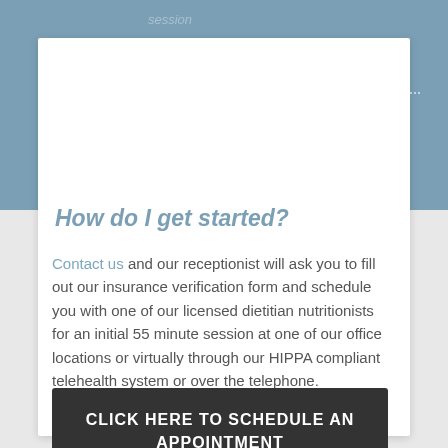session
[Figure (logo): Washington Nutrition & Counseling Group logo with circular figure icon and white text]
How do I get started?
Contact us and our receptionist will ask you to fill out our insurance verification form and schedule you with one of our licensed dietitian nutritionists for an initial 55 minute session at one of our office locations or virtually through our HIPPA compliant telehealth system or over the telephone.
CLICK HERE TO SCHEDULE AN APPOINTMENT